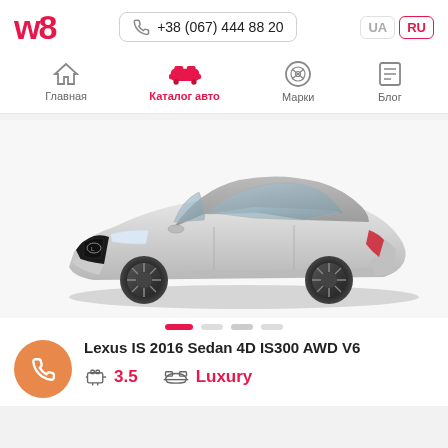w8 — +38 (067) 444 88 20 — UA | RU
Главная
Каталог авто
Марки
Блог
[Figure (photo): Silver Lexus IS 2016 Sedan 4D IS300 AWD V6 front three-quarter view on white background]
Lexus IS 2016 Sedan 4D IS300 AWD V6
3.5
Luxury